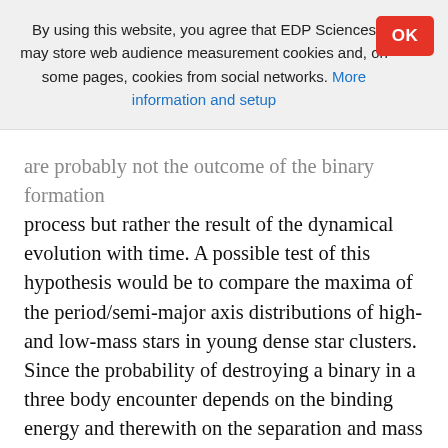By using this website, you agree that EDP Sciences may store web audience measurement cookies and, on some pages, cookies from social networks. More information and setup
are probably not the outcome of the binary formation process but rather the result of the dynamical evolution with time. A possible test of this hypothesis would be to compare the maxima of the period/semi-major axis distributions of high- and low-mass stars in young dense star clusters. Since the probability of destroying a binary in a three body encounter depends on the binding energy and therewith on the separation and mass of the binary, the maximum of the period and semi-major-axis distributions for massive stars should be at longer periods and wider semi-major axis than for lower mass stars. However, this test is not easy to be carried out since observations of the binary population in young dense star clusters usually only cover a small range of